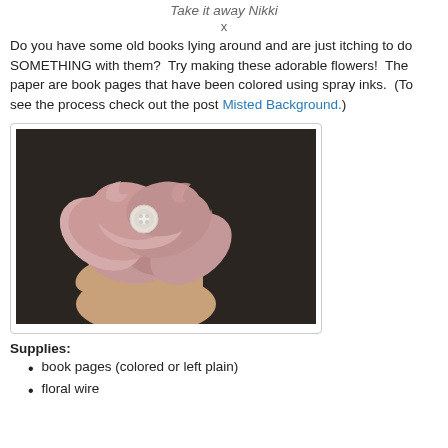Take it away Nikki
x
Do you have some old books lying around and are just itching to do SOMETHING with them?  Try making these adorable flowers!  The paper are book pages that have been colored using spray inks.  (To see the process check out the post Misted Background.)
[Figure (photo): A hand holding a pink flower made from book pages with a button in the center, displayed against a dark background.]
Supplies:
book pages (colored or left plain)
floral wire